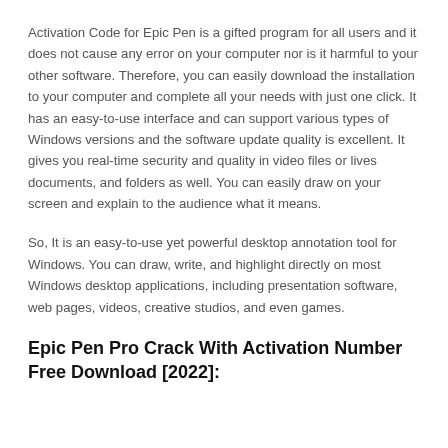Activation Code for Epic Pen is a gifted program for all users and it does not cause any error on your computer nor is it harmful to your other software. Therefore, you can easily download the installation to your computer and complete all your needs with just one click. It has an easy-to-use interface and can support various types of Windows versions and the software update quality is excellent. It gives you real-time security and quality in video files or lives documents, and folders as well. You can easily draw on your screen and explain to the audience what it means.
So, It is an easy-to-use yet powerful desktop annotation tool for Windows. You can draw, write, and highlight directly on most Windows desktop applications, including presentation software, web pages, videos, creative studios, and even games.
Epic Pen Pro Crack With Activation Number Free Download [2022]: